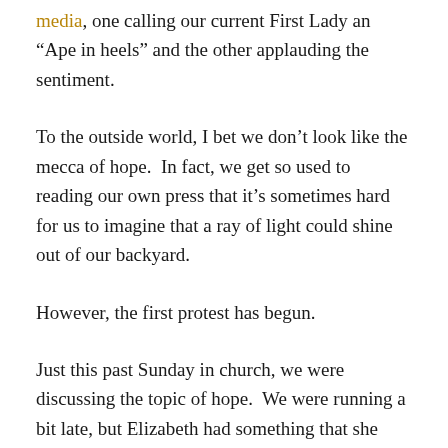media, one calling our current First Lady an "Ape in heels" and the other applauding the sentiment.
To the outside world, I bet we don't look like the mecca of hope.  In fact, we get so used to reading our own press that it's sometimes hard for us to imagine that a ray of light could shine out of our backyard.
However, the first protest has begun.
Just this past Sunday in church, we were discussing the topic of hope.  We were running a bit late, but Elizabeth had something that she wanted to share with our small group.
“I went for my usual run this morning,” she said, “and that often takes me by the mosque on Twentieth